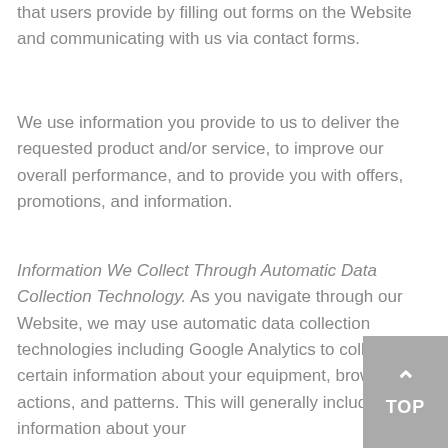that users provide by filling out forms on the Website and communicating with us via contact forms.
We use information you provide to us to deliver the requested product and/or service, to improve our overall performance, and to provide you with offers, promotions, and information.
Information We Collect Through Automatic Data Collection Technology. As you navigate through our Website, we may use automatic data collection technologies including Google Analytics to collect certain information about your equipment, browsing actions, and patterns. This will generally include information about your